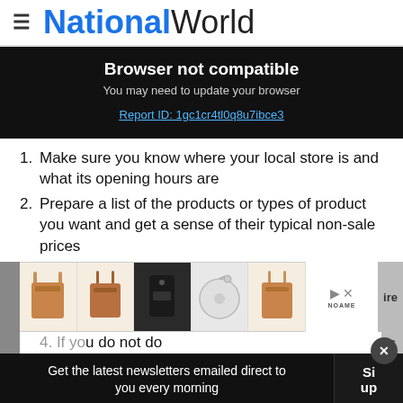National World
Browser not compatible
You may need to update your browser
Report ID: 1gc1cr4tl0q8u7ibce3
Make sure you know where your local store is and what its opening hours are
Prepare a list of the products or types of product you want and get a sense of their typical non-sale prices
[Figure (other): Advertisement strip showing handbags and accessories]
Get the latest newsletters emailed direct to you every morning